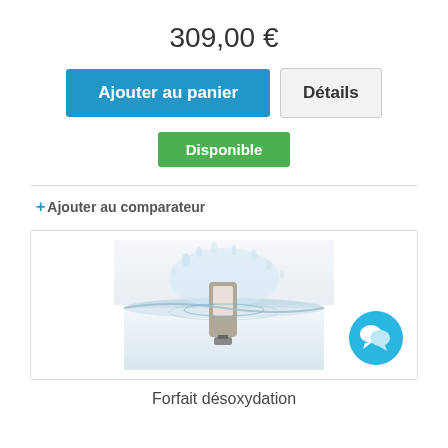309,00 €
Ajouter au panier  Détails
Disponible
+ Ajouter au comparateur
[Figure (photo): A small electronic device (network connector or USB device) splashing into water, with water droplets and splash visible against a white/grey background.]
Forfait désoxydation